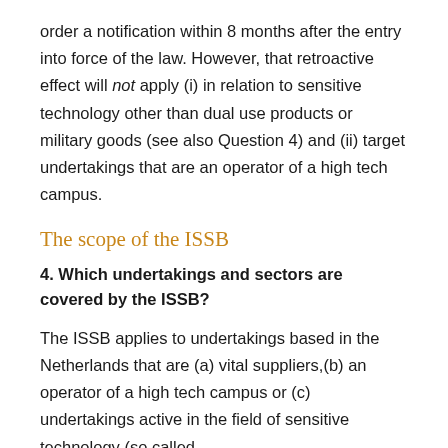order a notification within 8 months after the entry into force of the law. However, that retroactive effect will not apply (i) in relation to sensitive technology other than dual use products or military goods (see also Question 4) and (ii) target undertakings that are an operator of a high tech campus.
The scope of the ISSB
4. Which undertakings and sectors are covered by the ISSB?
The ISSB applies to undertakings based in the Netherlands that are (a) vital suppliers,(b) an operator of a high tech campus or (c) undertakings active in the field of sensitive technology (so called